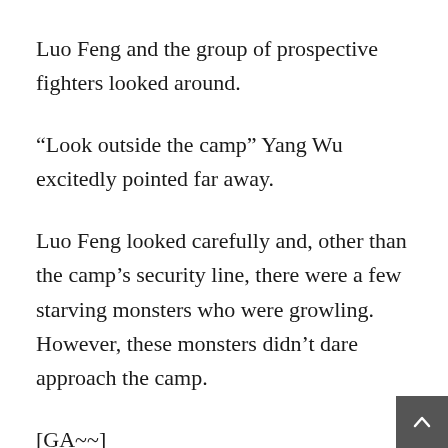Luo Feng and the group of prospective fighters looked around.
“Look outside the camp” Yang Wu excitedly pointed far away.
Luo Feng looked carefully and, other than the camp’s security line, there were a few starving monsters who were growling. However, these monsters didn’t dare approach the camp.
[GA~~]
An ear-piercing howl made all of the fighters simultaneously raise their heads, and they saw hundreds of densely packed Fei-Qin monsters howl across the dark, blue